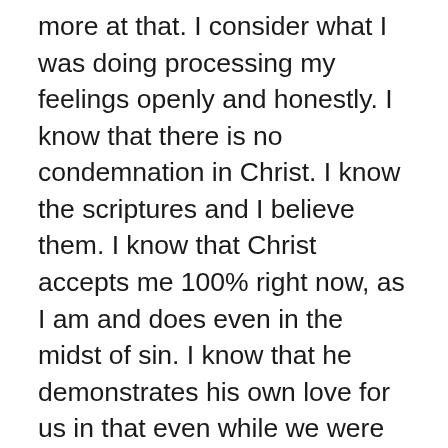more at that. I consider what I was doing processing my feelings openly and honestly. I know that there is no condemnation in Christ. I know the scriptures and I believe them. I know that Christ accepts me 100% right now, as I am and does even in the midst of sin. I know that he demonstrates his own love for us in that even while we were sinners Christ died for the ungodly...so yes, I believe what he says. I know it is true. Perhaps my words convey something that isn't what I feel...or perhaps I feel something that I am not aware of at a conscious level.I just